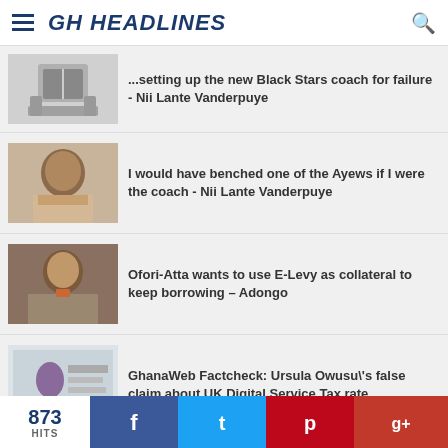GH HEADLINES
..setting up the new Black Stars coach for failure - Nii Lante Vanderpuye
I would have benched one of the Ayews if I were the coach - Nii Lante Vanderpuye
Ofori-Atta wants to use E-Levy as collateral to keep borrowing – Adongo
GhanaWeb Factcheck: Ursula Owusu\'s false claim about UK Digital Service Tax rate
GhanaWeb Factcheck: Ursula Owusu false claim...
873 HITS